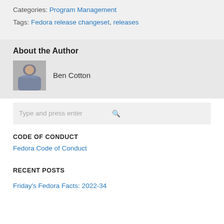Categories: Program Management
Tags: Fedora release changeset, releases
About the Author
[Figure (photo): Photo of Ben Cotton, a man in a blue/purple shirt]
Ben Cotton
Type and press enter
CODE OF CONDUCT
Fedora Code of Conduct
RECENT POSTS
Friday's Fedora Facts: 2022-34